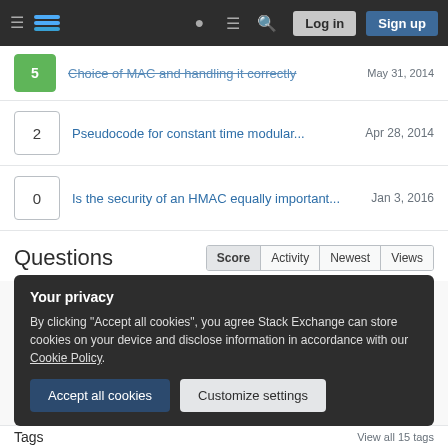Stack Exchange navigation bar with Log in and Sign up buttons
5 | Choice of MAC and handling it correctly | May 31, 2014
2 | Pseudocode for constant time modular... | Apr 28, 2014
0 | Is the security of an HMAC equally important... | Jan 3, 2016
Questions
26 | Use cases for CMAC vs. HMAC? | Apr 22, 2014
Your privacy
By clicking "Accept all cookies", you agree Stack Exchange can store cookies on your device and disclose information in accordance with our Cookie Policy.
Tags  View all 15 tags